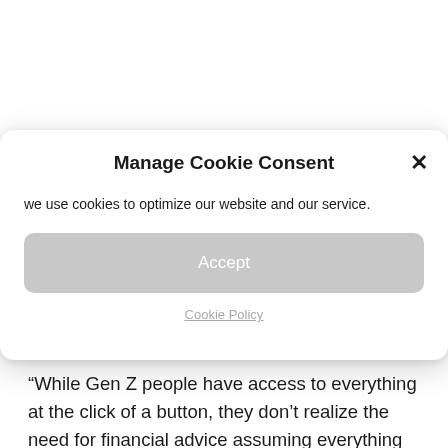Manage Cookie Consent
we use cookies to optimize our website and our service.
Accept
Cookie Policy
“While Gen Z people have access to everything at the click of a button, they don’t realize the need for financial advice assuming everything is at their